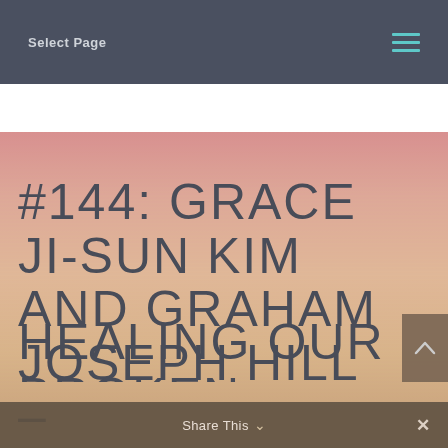Select Page
[Figure (illustration): Website screenshot showing a blog/podcast page with a gradient pink-to-peach background hero image displaying the title '#144: Grace Ji-Sun Kim and Graham Joseph Hill – Healing Our Broken...' with a navigation bar at top and Share This bar at bottom]
#144: GRACE JI-SUN KIM AND GRAHAM JOSEPH HILL – HEALING OUR BROKEN